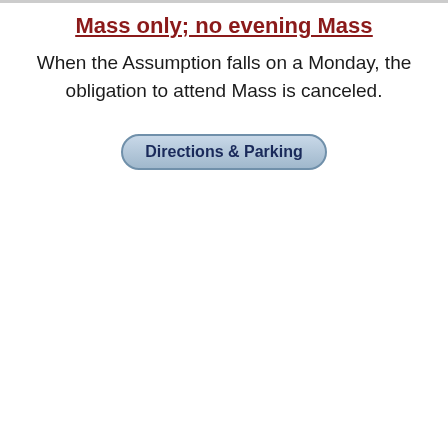Mass only; no evening Mass
When the Assumption falls on a Monday, the obligation to attend Mass is canceled.
[Figure (other): A button labeled 'Directions & Parking' with a rounded rectangle border and blue-gray gradient background]